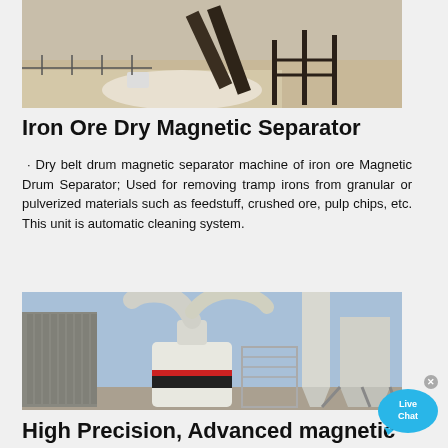[Figure (photo): Outdoor industrial site with conveyor belt and heavy mining equipment on sandy ground]
Iron Ore Dry Magnetic Separator
· Dry belt drum magnetic separator machine of iron ore Magnetic Drum Separator; Used for removing tramp irons from granular or pulverized materials such as feedstuff, crushed ore, pulp chips, etc. This unit is automatic cleaning system.
[Figure (photo): Large industrial grinding/milling machine with white silos and ductwork, outdoors]
High Precision, Advanced magnetic